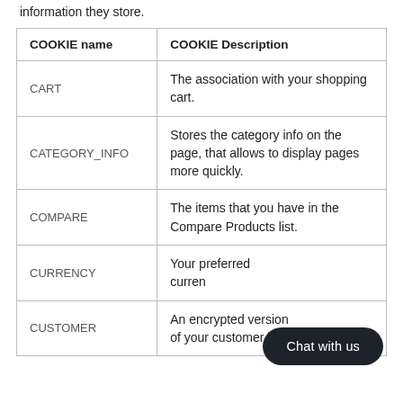information they store.
| COOKIE name | COOKIE Description |
| --- | --- |
| CART | The association with your shopping cart. |
| CATEGORY_INFO | Stores the category info on the page, that allows to display pages more quickly. |
| COMPARE | The items that you have in the Compare Products list. |
| CURRENCY | Your preferred currency. |
| CUSTOMER | An encrypted version of your customer id |